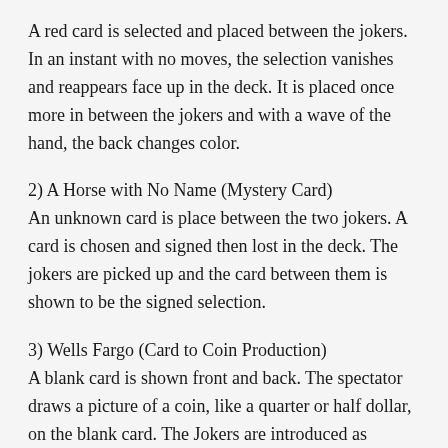A red card is selected and placed between the jokers. In an instant with no moves, the selection vanishes and reappears face up in the deck. It is placed once more in between the jokers and with a wave of the hand, the back changes color.
2) A Horse with No Name (Mystery Card)
An unknown card is place between the two jokers. A card is chosen and signed then lost in the deck. The jokers are picked up and the card between them is shown to be the signed selection.
3) Wells Fargo (Card to Coin Production)
A blank card is shown front and back. The spectator draws a picture of a coin, like a quarter or half dollar, on the blank card. The Jokers are introduced as money makers. The card with the drawing on it is placed in between the jokers, and with a magical wave, a coin slides out from the jokers and the card with the drawing has vanished.
4) Home Whisperer (Thought of Card Sandwich)